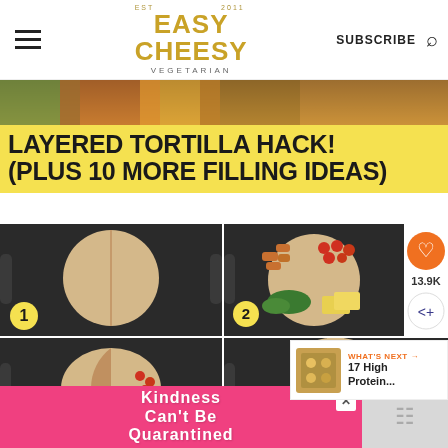EASY CHEESY VEGETARIAN | SUBSCRIBE
[Figure (photo): Food strip at top with colorful dishes]
LAYERED TORTILLA HACK! (PLUS 10 MORE FILLING IDEAS)
[Figure (photo): Step 1: Plain whole wheat tortilla on a dark cutting board with a cut line]
[Figure (photo): Step 2: Tortilla topped with cherry tomatoes, greens, cheese slices, and nuggets]
[Figure (photo): Step 3: Tortilla being folded with fillings visible]
[Figure (photo): Step 4: Folded tortilla on cutting board]
[Figure (photo): WHAT'S NEXT: 17 High Protein... thumbnail]
WHAT'S NEXT → 17 High Protein...
[Figure (photo): Advertisement banner: KINDNESS CAN'T BE QUARANTINED]